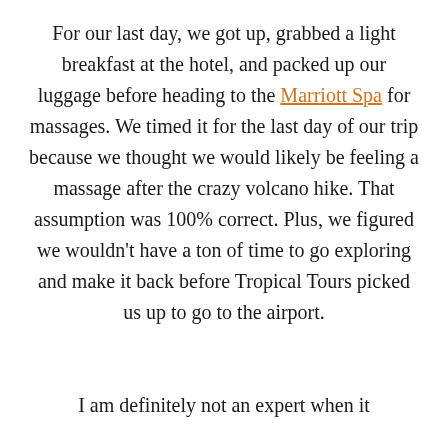For our last day, we got up, grabbed a light breakfast at the hotel, and packed up our luggage before heading to the Marriott Spa for massages. We timed it for the last day of our trip because we thought we would likely be feeling a massage after the crazy volcano hike. That assumption was 100% correct. Plus, we figured we wouldn't have a ton of time to go exploring and make it back before Tropical Tours picked us up to go to the airport.
I am definitely not an expert when it comes to hotel spas, I usually find...